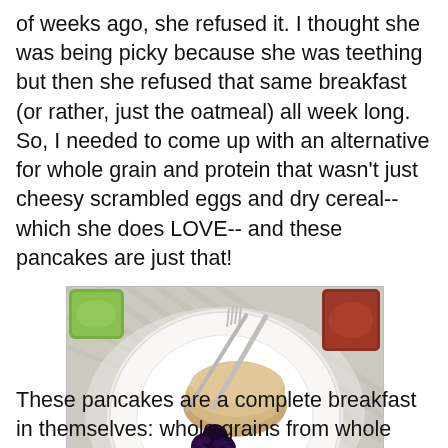of weeks ago, she refused it. I thought she was being picky because she was teething but then she refused that same breakfast (or rather, just the oatmeal) all week long. So, I needed to come up with an alternative for whole grain and protein that wasn't just cheesy scrambled eggs and dry cereal-- which she does LOVE-- and these pancakes are just that!
[Figure (photo): Overhead view of a white plate with a stack of pancakes and blackberries, a fork and knife resting on the plate, a green mug in the upper left, a red jar in the upper right, all on a herringbone or woven cloth tablecloth.]
These pancakes are a complete breakfast in themselves: whole grains from whole wheat flour, protein from almond butter, whole milk, and eggs, and the nutritional benefits of